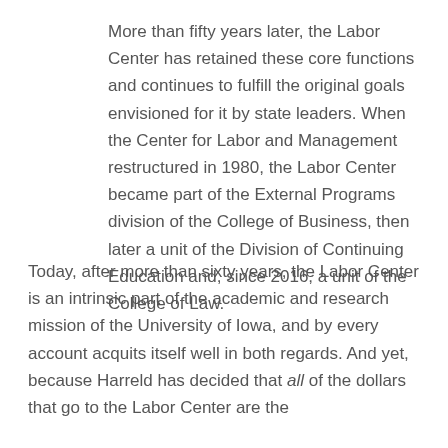More than fifty years later, the Labor Center has retained these core functions and continues to fulfill the original goals envisioned for it by state leaders. When the Center for Labor and Management restructured in 1980, the Labor Center became part of the External Programs division of the College of Business, then later a unit of the Division of Continuing Education and, since 2016, a unit of the College of Law.
Today, after more than sixty years, the Labor Center is an intrinsic part of the academic and research mission of the University of Iowa, and by every account acquits itself well in both regards. And yet, because Harreld has decided that all of the dollars that go to the Labor Center are the